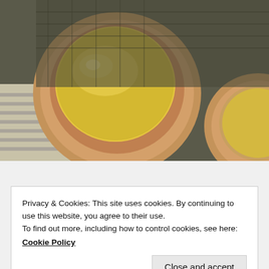[Figure (photo): Close-up photograph of egg tarts (custard tarts) with golden yellow custard filling in a fluted pastry shell, on a textured surface. A second tart is partially visible at the right edge.]
[Figure (photo): Partial view of a row of circular avatar/profile photos: a woman with light skin, a woman with dark hair, a man, and a blue circle with a person icon.]
Privacy & Cookies: This site uses cookies. By continuing to use this website, you agree to their use.
To find out more, including how to control cookies, see here:
Cookie Policy
Close and accept